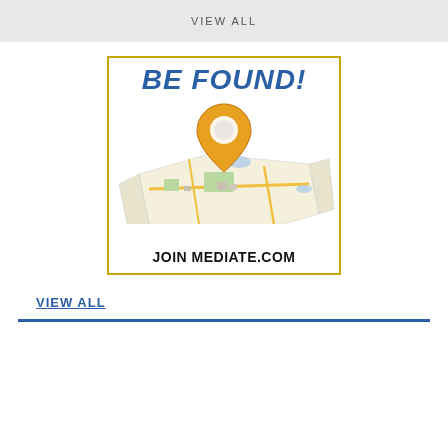VIEW ALL
[Figure (infographic): Advertisement for Mediate.com with 'BE FOUND!' text in blue, an orange map pin icon over a folded street map, and 'JOIN MEDIATE.COM' text in black at the bottom. Bordered in gold/yellow.]
VIEW ALL